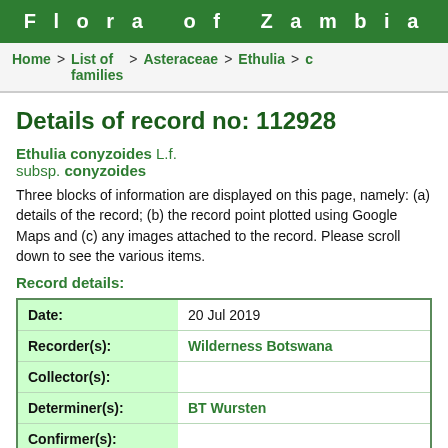Flora of Zambia
Home > List of families > Asteraceae > Ethulia >
Details of record no: 112928
Ethulia conyzoides L.f. subsp. conyzoides
Three blocks of information are displayed on this page, namely: (a) details of the record; (b) the record point plotted using Google Maps and (c) any images attached to the record. Please scroll down to see the various items.
Record details:
| Field | Value |
| --- | --- |
| Date: | 20 Jul 2019 |
| Recorder(s): | Wilderness Botswana |
| Collector(s): |  |
| Determiner(s): | BT Wursten |
| Confirmer(s): |  |
| Herbarium: |  |